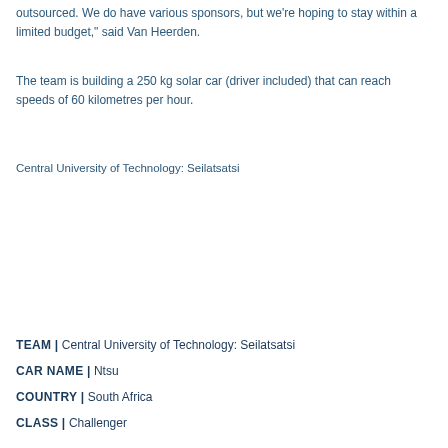outsourced. We do have various sponsors, but we're hoping to stay within a limited budget," said Van Heerden.
The team is building a 250 kg solar car (driver included) that can reach speeds of 60 kilometres per hour.
Central University of Technology: Seilatsatsi
TEAM | Central University of Technology: Seilatsatsi
CAR NAME | Ntsu
COUNTRY | South Africa
CLASS | Challenger